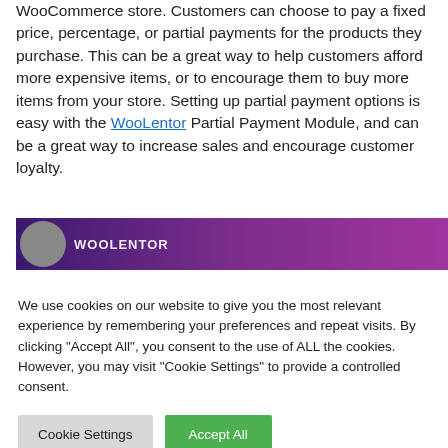WooCommerce store. Customers can choose to pay a fixed price, percentage, or partial payments for the products they purchase. This can be a great way to help customers afford more expensive items, or to encourage them to buy more items from your store. Setting up partial payment options is easy with the WooLentor Partial Payment Module, and can be a great way to increase sales and encourage customer loyalty.
[Figure (other): A purple/violet banner image with a circular avatar icon on the left and text overlaid on a gradient purple background.]
We use cookies on our website to give you the most relevant experience by remembering your preferences and repeat visits. By clicking "Accept All", you consent to the use of ALL the cookies. However, you may visit "Cookie Settings" to provide a controlled consent.